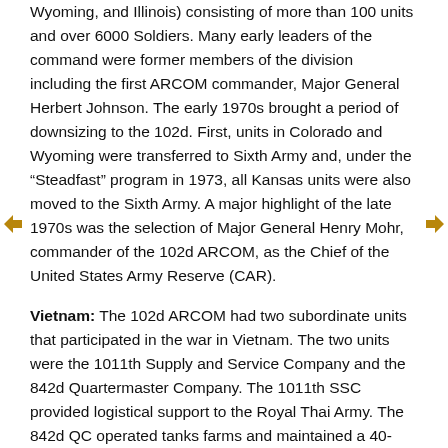Wyoming, and Illinois) consisting of more than 100 units and over 6000 Soldiers. Many early leaders of the command were former members of the division including the first ARCOM commander, Major General Herbert Johnson. The early 1970s brought a period of downsizing to the 102d. First, units in Colorado and Wyoming were transferred to Sixth Army and, under the “Steadfast” program in 1973, all Kansas units were also moved to the Sixth Army. A major highlight of the late 1970s was the selection of Major General Henry Mohr, commander of the 102d ARCOM, as the Chief of the United States Army Reserve (CAR).
Vietnam: The 102d ARCOM had two subordinate units that participated in the war in Vietnam. The two units were the 1011th Supply and Service Company and the 842d Quartermaster Company. The 1011th SSC provided logistical support to the Royal Thai Army. The 842d QC operated tanks farms and maintained a 40-mile pipeline that supplied major combat units in northern Vietnam.
Operation Desert Storm / Desert Shield: The 102d ARCOM played a significant role in Operation Desert Storm and Operation Desert Shield. A total of 17 units were mobilized from the command in support of both operations. Twelve of the units were sent to the Middle East, two units went to Europe, and three remained on duty in the United States. In